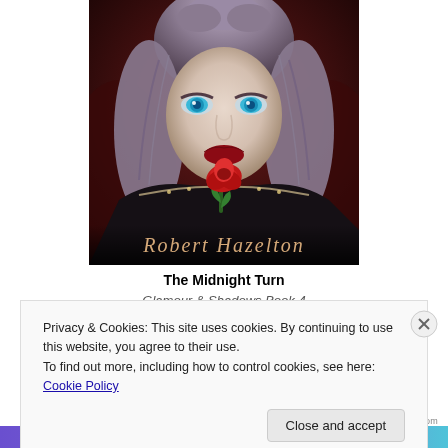[Figure (illustration): Book cover for 'The Midnight Turn' by Robert Hazelton — a dark fantasy illustration of a pale woman with blue eyes and silver-blond braided hair, holding a red rose near her lips, wearing dark lace clothing with jeweled trim. The author name 'Robert Hazelton' appears at the bottom of the cover in decorative serif font.]
The Midnight Turn
Glamour & Shadows Book 4
Privacy & Cookies: This site uses cookies. By continuing to use this website, you agree to their use.
To find out more, including how to control cookies, see here: Cookie Policy
Close and accept